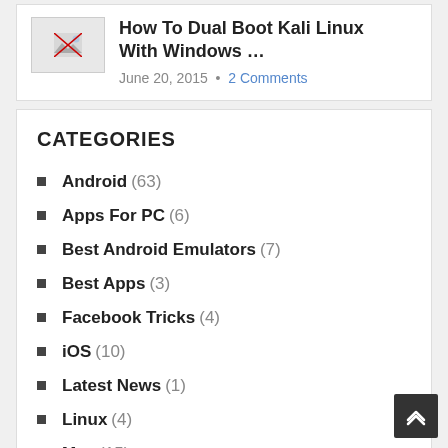[Figure (photo): Thumbnail image placeholder with broken image icon]
How To Dual Boot Kali Linux With Windows …
June 20, 2015 • 2 Comments
CATEGORIES
Android (63)
Apps For PC (6)
Best Android Emulators (7)
Best Apps (3)
Facebook Tricks (4)
iOS (10)
Latest News (1)
Linux (4)
Mac (15)